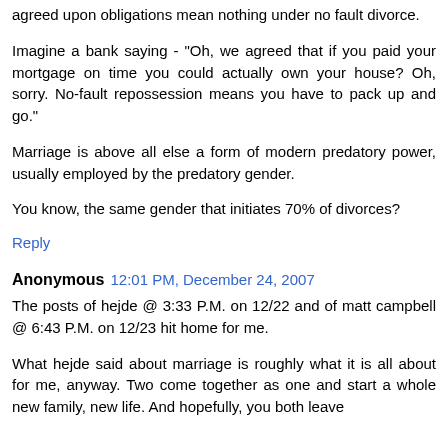agreed upon obligations mean nothing under no fault divorce.
Imagine a bank saying - "Oh, we agreed that if you paid your mortgage on time you could actually own your house? Oh, sorry. No-fault repossession means you have to pack up and go."
Marriage is above all else a form of modern predatory power, usually employed by the predatory gender.
You know, the same gender that initiates 70% of divorces?
Reply
Anonymous 12:01 PM, December 24, 2007
The posts of hejde @ 3:33 P.M. on 12/22 and of matt campbell @ 6:43 P.M. on 12/23 hit home for me.
What hejde said about marriage is roughly what it is all about for me, anyway. Two come together as one and start a whole new family, new life. And hopefully, you both leave